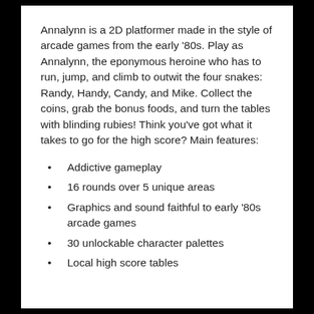Annalynn is a 2D platformer made in the style of arcade games from the early ‘80s. Play as Annalynn, the eponymous heroine who has to run, jump, and climb to outwit the four snakes: Randy, Handy, Candy, and Mike. Collect the coins, grab the bonus foods, and turn the tables with blinding rubies! Think you’ve got what it takes to go for the high score? Main features:
Addictive gameplay
16 rounds over 5 unique areas
Graphics and sound faithful to early ‘80s arcade games
30 unlockable character palettes
Local high score tables